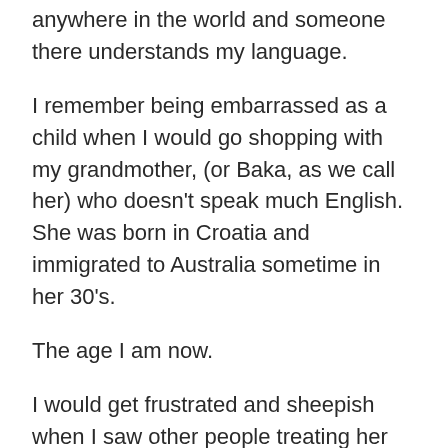anywhere in the world and someone there understands my language.
I remember being embarrassed as a child when I would go shopping with my grandmother, (or Baka, as we call her) who doesn't speak much English. She was born in Croatia and immigrated to Australia sometime in her 30's.
The age I am now.
I would get frustrated and sheepish when I saw other people treating her differently because she didn't speak the language. Treating her like she was stupid.
I would sometimes agree with them.